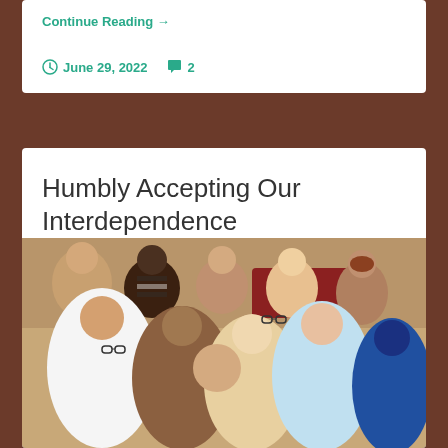Continue Reading →
June 29, 2022   2
Humbly Accepting Our Interdependence
[Figure (photo): A large group of diverse young people hugging and smiling in what appears to be a classroom or meeting room setting, with red chairs visible in the background.]